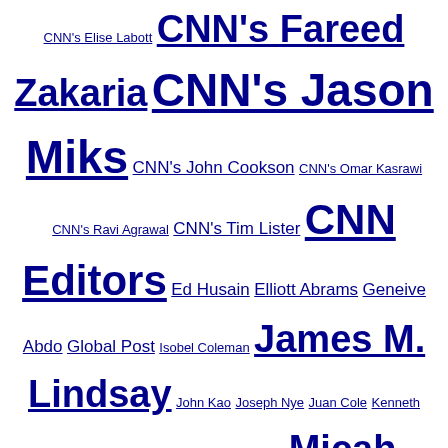CNN's Elise Labott CNN's Fareed Zakaria CNN's Jason Miks CNN's John Cookson CNN's Omar Kasrawi CNN's Ravi Agrawal CNN's Tim Lister CNN Editors Ed Husain Elliott Abrams Geneive Abdo Global Post Isobel Coleman James M. Lindsay John Kao Joseph Nye Juan Cole Kenneth Rogoff Martin Feldstein Meir Javedanfar Micah Zenko Michael O'Hanlon Michael Spence Minxin Pei Mohamed El-Erian Peter Singer Richard Haass Robert Danin Sami Moubayed Shashank Joshi Soner Cagaptay Stephen S. Roach Steven A. Cook Stewart M. Patrick Stewart Patrick TIME's Tony Karon
Categories
Select Category
@fareedzakaria on Twitter
Germany today is the rock on which a new Europe is being built. In 1945, no one would have predicted that Germany w�twitter.com/i/web/status/1…t4
fareedzakaria
8:37 pm ET September 1, 2022 RETWEET
25 years ago, Princess Diana died in a tragic car crash. @TinaBrownLM chronicles the House of Windsor in her now